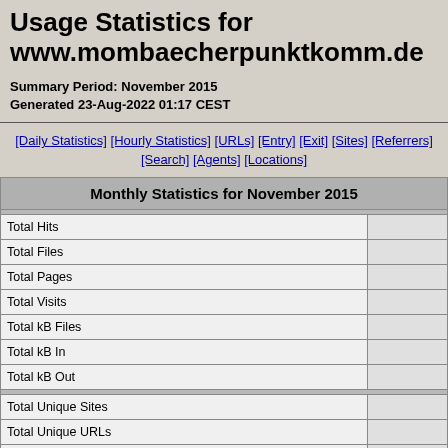Usage Statistics for www.mombaecherpunktkomm.de
Summary Period: November 2015
Generated 23-Aug-2022 01:17 CEST
[Daily Statistics] [Hourly Statistics] [URLs] [Entry] [Exit] [Sites] [Referrers] [Search] [Agents] [Locations]
| Monthly Statistics for November 2015 |  |
| --- | --- |
| Total Hits |  |
| Total Files |  |
| Total Pages |  |
| Total Visits |  |
| Total kB Files |  |
| Total kB In |  |
| Total kB Out |  |
| Total Unique Sites |  |
| Total Unique URLs |  |
| Total Unique Referrers |  |
| Total Unique User Agents |  |